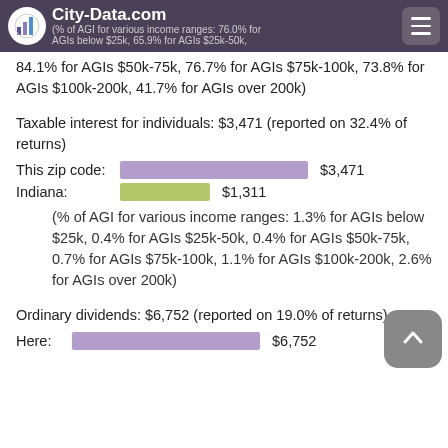City-Data.com
(% of AGI for various income ranges: 76.0% for AGIs below $25k, 65.9% for AGIs $25k-50k, 84.1% for AGIs $50k-75k, 76.7% for AGIs $75k-100k, 73.8% for AGIs $100k-200k, 41.7% for AGIs over 200k)
Taxable interest for individuals: $3,471 (reported on 32.4% of returns)
This zip code: [bar] $3,471
Indiana: [bar] $1,311
(% of AGI for various income ranges: 1.3% for AGIs below $25k, 0.4% for AGIs $25k-50k, 0.4% for AGIs $50k-75k, 0.7% for AGIs $75k-100k, 1.1% for AGIs $100k-200k, 2.6% for AGIs over 200k)
Ordinary dividends: $6,752 (reported on 19.0% of returns)
Here: [bar] $6,752